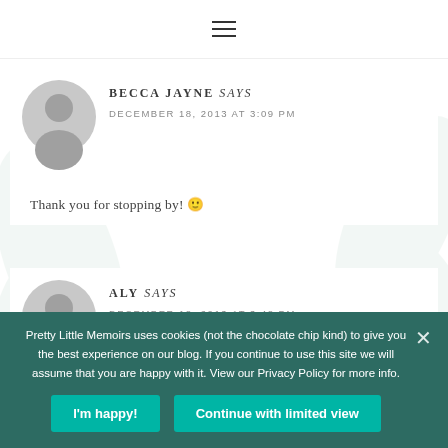≡
BECCA JAYNE says
DECEMBER 18, 2013 AT 3:09 PM
Thank you for stopping by! 🙂
ALY says
DECEMBER 18, 2013 AT 3:48 PM
Pretty Little Memoirs uses cookies (not the chocolate chip kind) to give you the best experience on our blog. If you continue to use this site we will assume that you are happy with it. View our Privacy Policy for more info.
I'm happy!  Continue with limited view